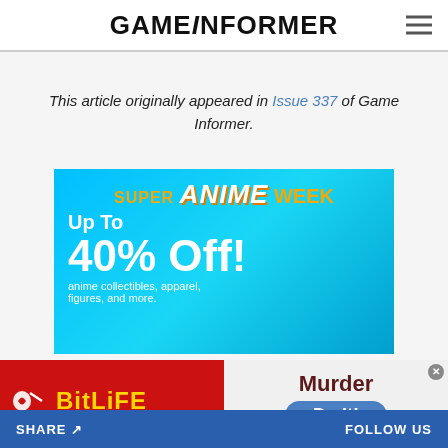GAMEINFORMER
This article originally appeared in Issue 337 of Game Informer.
[Figure (illustration): Super Anime Week advertisement banner. Blue background with orange and white text reading SUPER ANIME WEEK, Up To 40% Off! anime collectibles, apparel, figures, and more. Anime character figures visible on the right.]
[Figure (illustration): BitLife mobile game advertisement. Red left panel with BitLife logo in yellow. Right panel showing Murder / Do it! call to action with blue pill-shaped button.]
SHARE  FOLLOW US